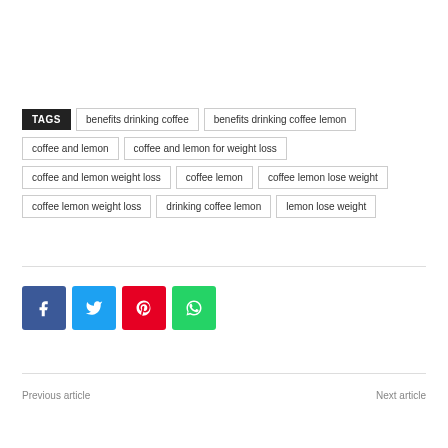TAGS | benefits drinking coffee | benefits drinking coffee lemon | coffee and lemon | coffee and lemon for weight loss | coffee and lemon weight loss | coffee lemon | coffee lemon lose weight | coffee lemon weight loss | drinking coffee lemon | lemon lose weight
Previous article
Next article